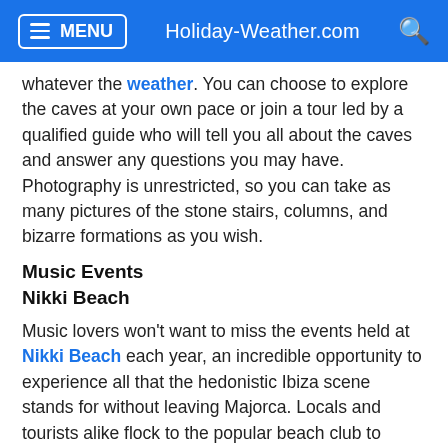MENU   Holiday-Weather.com   [search]
whatever the weather. You can choose to explore the caves at your own pace or join a tour led by a qualified guide who will tell you all about the caves and answer any questions you may have. Photography is unrestricted, so you can take as many pictures of the stone stairs, columns, and bizarre formations as you wish.
Music Events
Nikki Beach
Music lovers won't want to miss the events held at Nikki Beach each year, an incredible opportunity to experience all that the hedonistic Ibiza scene stands for without leaving Majorca. Locals and tourists alike flock to the popular beach club to listen to the resident and guest DJs from Ibiza spin the decks and raise the roof as they dance well into the early hours.